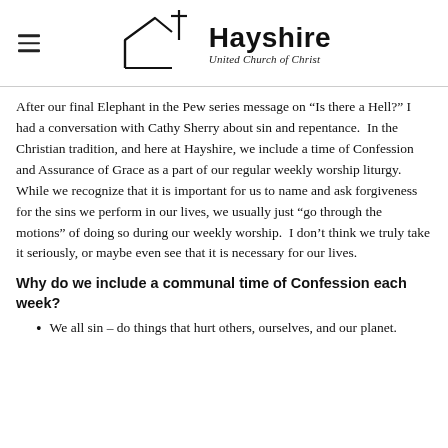Hayshire United Church of Christ
After our final Elephant in the Pew series message on “Is there a Hell?” I had a conversation with Cathy Sherry about sin and repentance.  In the Christian tradition, and here at Hayshire, we include a time of Confession and Assurance of Grace as a part of our regular weekly worship liturgy.  While we recognize that it is important for us to name and ask forgiveness for the sins we perform in our lives, we usually just “go through the motions” of doing so during our weekly worship.  I don’t think we truly take it seriously, or maybe even see that it is necessary for our lives.
Why do we include a communal time of Confession each week?
We all sin – do things that hurt others, ourselves, and our planet.